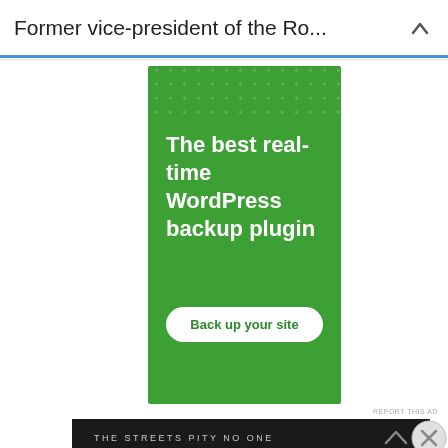Former vice-president of the Ro...
[Figure (screenshot): Green advertisement banner for WordPress backup plugin with text 'The best real-time WordPress backup plugin' and a 'Back up your site' button]
REPORT THIS AD
[Figure (screenshot): Dark banner with text 'THE STREETS PITY NO ONE']
Advertisements
[Figure (screenshot): Seamless food delivery advertisement with pizza image, seamless logo, and 'ORDER NOW' button]